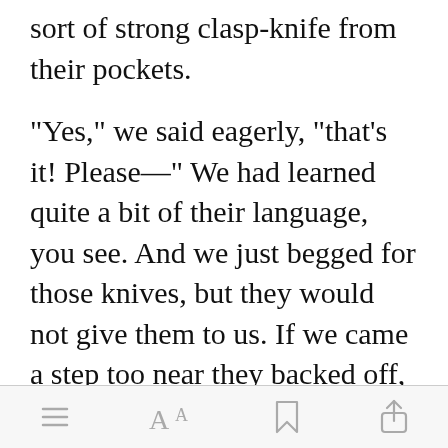sort of strong clasp-knife from their pockets.
"Yes," we said eagerly, "that's it! Please—" We had learned quite a bit of their language, you see. And we just begged for those knives, but they would not give them to us. If we came a step too near they backed off, standing light and eager for flight.
[Figure (screenshot): App toolbar with menu, font size, bookmark, and share icons]